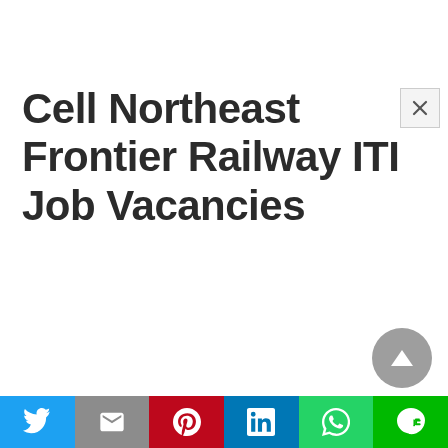Cell Northeast Frontier Railway ITI Job Vacancies
[Figure (screenshot): Close button (×) in top-right corner of modal/popup]
[Figure (screenshot): Scroll-to-top button — circular grey button with upward triangle arrow]
[Figure (infographic): Social share bar with 6 buttons: Twitter (blue), Gmail (grey), Pinterest (red), LinkedIn (blue), WhatsApp (green), Line (green)]